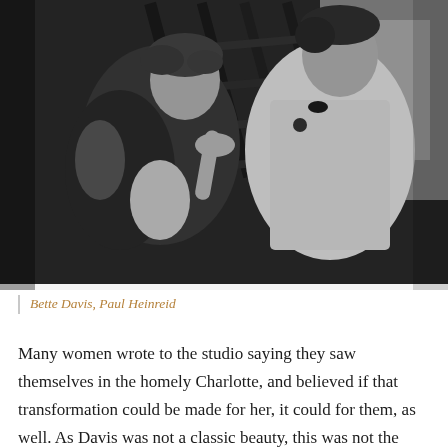[Figure (photo): Black and white movie still showing a woman in a sequined evening wrap and a man in a white dinner jacket with boutonniere, standing near a staircase, appearing to be in conversation.]
Bette Davis, Paul Heinreid
Many women wrote to the studio saying they saw themselves in the homely Charlotte, and believed if that transformation could be made for her, it could for them, as well. As Davis was not a classic beauty, this was not the same glamorizing the for the